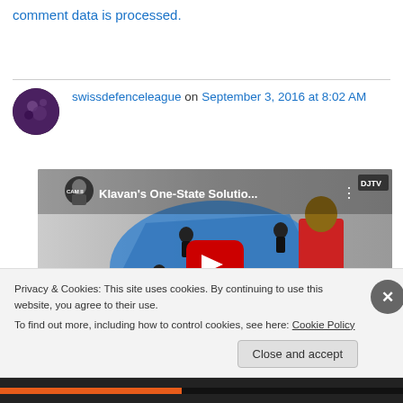This site uses Akismet to reduce spam. Learn how your comment data is processed.
swissdefenceleague on September 3, 2016 at 8:02 AM
[Figure (screenshot): YouTube video thumbnail for 'Klavan's One-State Solutio...' with a play button overlay, showing animated figures on a blue map and a man in a red shirt]
Privacy & Cookies: This site uses cookies. By continuing to use this website, you agree to their use.
To find out more, including how to control cookies, see here: Cookie Policy
Close and accept